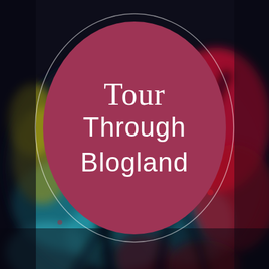[Figure (illustration): Blurred abstract background with dark navy/black, cyan/blue, red, and yellow-green colors suggesting foliage or natural textures. A large mauve/rose circle overlaid in the upper-center area with a thin circular ring outline around it, containing the text 'Tour Through Blogland' in white script and sans-serif fonts.]
Tour Through Blogland